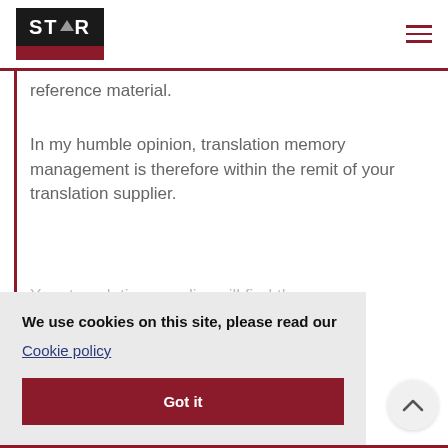STAR logo and navigation hamburger menu
reference material.
In my humble opinion, translation memory management is therefore within the remit of your translation supplier.
Your translation supplier will find the best…
We use cookies on this site, please read our Cookie policy
Got it